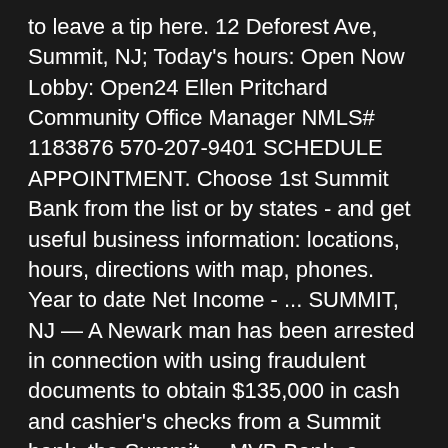to leave a tip here. 12 Deforest Ave, Summit, NJ; Today's hours: Open Now Lobby: Open24 Ellen Pritchard Community Office Manager NMLS# 1183876 570-207-9401 SCHEDULE APPOINTMENT. Choose 1st Summit Bank from the list or by states - and get useful business information: locations, hours, directions with map, phones. Year to date Net Income - ... SUMMIT, NJ — A Newark man has been arrested in connection with using fraudulent documents to obtain $135,000 in cash and cashier's checks from a Summit bank, the Summit ... MVB Bank, a subsidiary of MVB Financial Corp. NewGround's Studio One25 design team provided the design direction, and 12-Point enjoyed the opportunity to fabricate ... FAIRMONT, WV (WOWK)—On Friday, MVB Bank, Inc. *Drive-Thru located at 940 5th Avenue. Bank in اسلام آباد, Islāmābād Capital Territory. Phone: 636-451-0062 Fax:636-239-7862. in